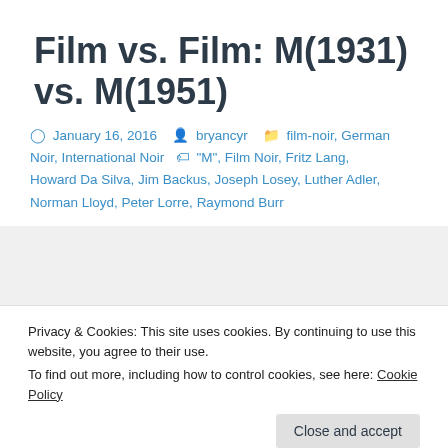Film vs. Film: M(1931) vs. M(1951)
January 16, 2016  bryancyr  film-noir, German Noir, International Noir  "M", Film Noir, Fritz Lang, Howard Da Silva, Jim Backus, Joseph Losey, Luther Adler, Norman Lloyd, Peter Lorre, Raymond Burr
[Figure (photo): Partial view of a movie poster or film still, showing a dark silhouetted figure against a yellow-green background. At the bottom visible text reads 'Fritz Lang's'.]
Privacy & Cookies: This site uses cookies. By continuing to use this website, you agree to their use.
To find out more, including how to control cookies, see here: Cookie Policy
Close and accept